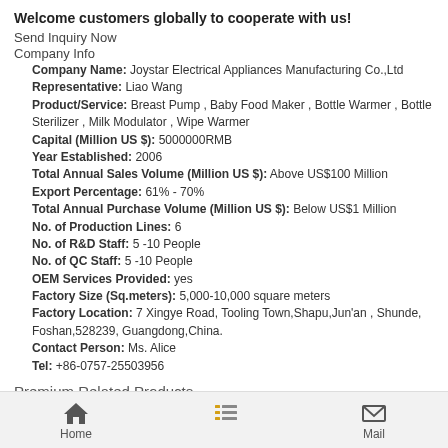Welcome customers globally to cooperate with us!
Send Inquiry Now
Company Info
Company Name: Joystar Electrical Appliances Manufacturing Co.,Ltd
Representative: Liao Wang
Product/Service: Breast Pump , Baby Food Maker , Bottle Warmer , Bottle Sterilizer , Milk Modulator , Wipe Warmer
Capital (Million US $): 5000000RMB
Year Established: 2006
Total Annual Sales Volume (Million US $): Above US$100 Million
Export Percentage: 61% - 70%
Total Annual Purchase Volume (Million US $): Below US$1 Million
No. of Production Lines: 6
No. of R&D Staff: 5 -10 People
No. of QC Staff: 5 -10 People
OEM Services Provided: yes
Factory Size (Sq.meters): 5,000-10,000 square meters
Factory Location: 7 Xingye Road, Tooling Town,Shapu,Jun'an , Shunde, Foshan,528239, Guangdong,China.
Contact Person: Ms. Alice
Tel: +86-0757-25503956
Premium Related Products
100Ah 48V Lithium Ion Rechargeable Battery Pack
3.6V Ni-cd Battery Pack Emergency Exit Sign LED
Other Products
Home  Mail